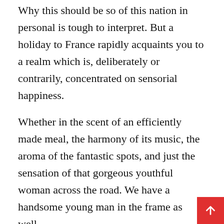Why this should be so of this nation in personal is tough to interpret. But a holiday to France rapidly acquaints you to a realm which is, deliberately or contrarily, concentrated on sensorial happiness.
Whether in the scent of an efficiently made meal, the harmony of its music, the aroma of the fantastic spots, and just the sensation of that gorgeous youthful woman across the road. We have a handsome young man in the frame as well.
Stay in any of the main metropolia and you experience magnificence, dignity, account, and the excellent anthologies of artistic artifacts. Tour the wine basements, and you realize yourself surviving